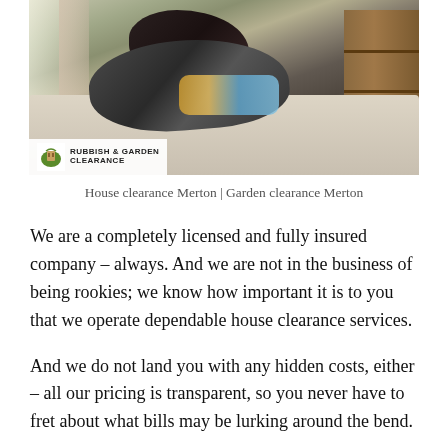[Figure (photo): A messy bedroom with clothes, bags, and items scattered over a bed; an open wardrobe/bookshelf visible on the right; curtained window on the left. A logo badge reads 'Rubbish & Garden Clearance' in the lower left corner of the photo.]
House clearance Merton | Garden clearance Merton
We are a completely licensed and fully insured company – always. And we are not in the business of being rookies; we know how important it is to you that we operate dependable house clearance services.
And we do not land you with any hidden costs, either – all our pricing is transparent, so you never have to fret about what bills may be lurking around the bend.